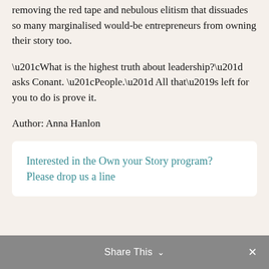removing the red tape and nebulous elitism that dissuades so many marginalised would-be entrepreneurs from owning their story too.
“What is the highest truth about leadership?” asks Conant. “People.” All that’s left for you to do is prove it.
Author: Anna Hanlon
Interested in the Own your Story program? Please drop us a line
Share This ⌄   ×